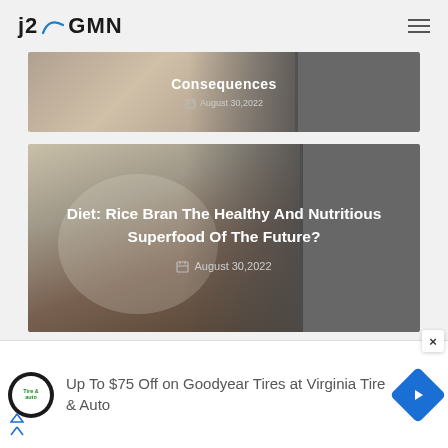j2GMN
[Figure (photo): Article card with photo of person at computer, dark overlay, title 'Consequences', date August 30, 2022]
Consequences
August 30,2022
[Figure (photo): Article card with photo of rice in bowl, dark overlay. Title: Diet: Rice Bran The Healthy And Nutritious Superfood Of The Future?]
Diet: Rice Bran The Healthy And Nutritious Superfood Of The Future?
August 30,2022
[Figure (other): Advertisement banner: Up To $75 Off on Goodyear Tires at Virginia Tire & Auto, with Tire & Auto logo and blue diamond arrow icon]